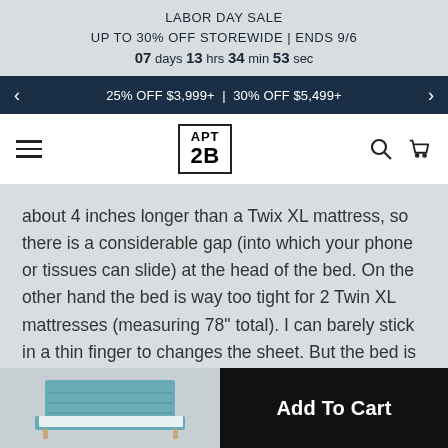LABOR DAY SALE
UP TO 30% OFF STOREWIDE | ENDS 9/6
07 days 13 hrs 34 min 53 sec
< 25% OFF $3,999+ | 30% OFF $5,499+ >
[Figure (logo): APT 2B logo with hamburger menu, search icon, and cart icon navigation bar]
about 4 inches longer than a Twix XL mattress, so there is a considerable gap (into which your phone or tissues can slide) at the head of the bed. On the other hand the bed is way too tight for 2 Twin XL mattresses (measuring 78" total). I can barely stick in a thin finger to changes the sheet. But the bed is worth this inconvenience!
[Figure (photo): Small thumbnail image of a blue/teal upholstered bed frame]
Add To Cart